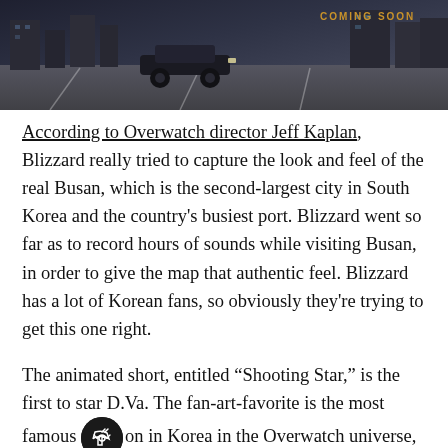[Figure (photo): Hero image of a futuristic city scene (Busan Overwatch map) with dark tones; 'COMING SOON' text overlay in gold/amber in upper right]
According to Overwatch director Jeff Kaplan, Blizzard really tried to capture the look and feel of the real Busan, which is the second-largest city in South Korea and the country's busiest port. Blizzard went so far as to record hours of sounds while visiting Busan, in order to give the map that authentic feel. Blizzard has a lot of Korean fans, so obviously they're trying to get this one right.
The animated short, entitled “Shooting Star,” is the first to star D.Va. The fan-art-favorite is the most famous [character] on in Korea in the Overwatch universe, as she’s both an esports star and leader of the MEKA squad, which defends the country against Omnic attacks. The short gives us a peek behind the glitz and glamour, as